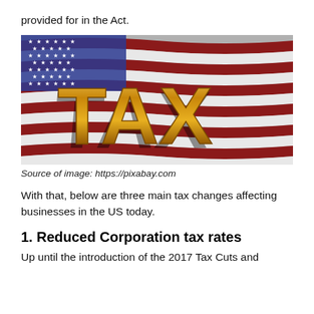provided for in the Act.
[Figure (illustration): American flag background with large gold 3D letters spelling TAX in the foreground]
Source of image: https://pixabay.com
With that, below are three main tax changes affecting businesses in the US today.
1. Reduced Corporation tax rates
Up until the introduction of the 2017 Tax Cuts and